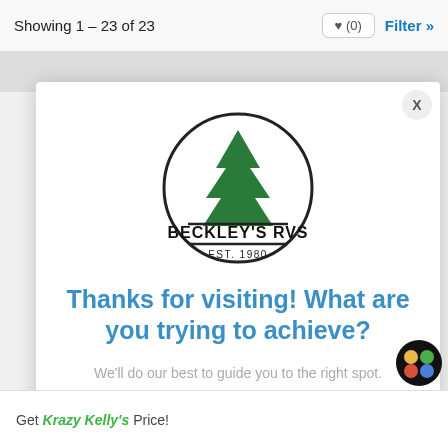Showing 1 – 23 of 23
[Figure (logo): Beckley's RVs circular logo with pine tree, black circle border, and text BECKLEY'S RVS EST. 1980]
Thanks for visiting! What are you trying to achieve?
We'll do our best to guide you to the right spot.
Get a Grip on RV Shopping
Get Krazy Kelly's Price!